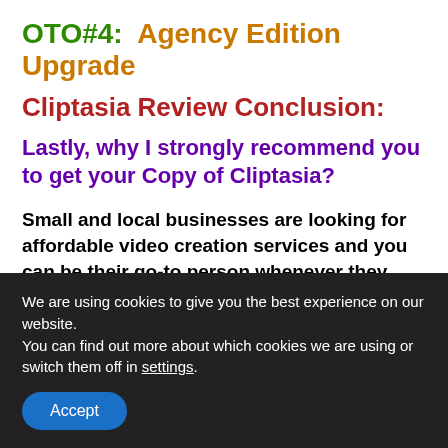OTO#4:  Agency Edition Upgrade
Cliptasia Review Conclusion:
Lastly, why I strongly recommend you to get your Copy of Cliptasia?
Small and local businesses are looking for affordable video creation services and you can be their go-to person whenever they need such services.
Cliptasia offers you a simpler way of making quality videos.
We are using cookies to give you the best experience on our website.
You can find out more about which cookies we are using or switch them off in settings.
Accept